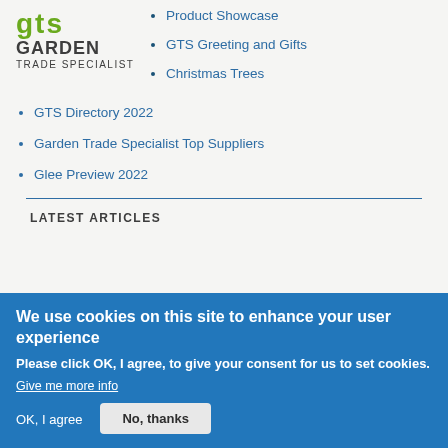[Figure (logo): GTS Garden Trade Specialist logo with green GTS letters and dark text below]
Product Showcase
GTS Greeting and Gifts
Christmas Trees
GTS Directory 2022
Garden Trade Specialist Top Suppliers
Glee Preview 2022
LATEST ARTICLES
We use cookies on this site to enhance your user experience
Please click OK, I agree, to give your consent for us to set cookies.
Give me more info
OK, I agree
No, thanks